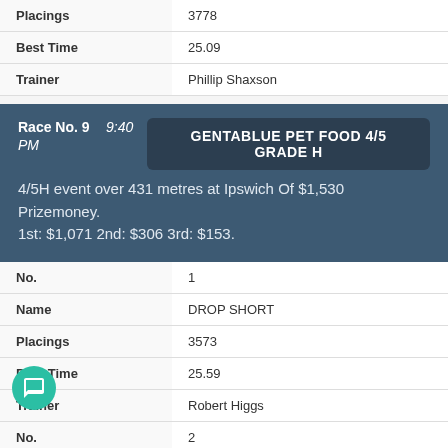| Field | Value |
| --- | --- |
| Placings | 3778 |
| Best Time | 25.09 |
| Trainer | Phillip Shaxson |
Race No. 9  9:40 PM  GENTABLUE PET FOOD 4/5 GRADE H  4/5H event over 431 metres at Ipswich Of $1,530 Prizemoney. 1st: $1,071 2nd: $306 3rd: $153.
| Field | Value |
| --- | --- |
| No. | 1 |
| Name | DROP SHORT |
| Placings | 3573 |
| Best Time | 25.59 |
| Trainer | Robert Higgs |
| No. | 2 |
| Name | BURNING OAK |